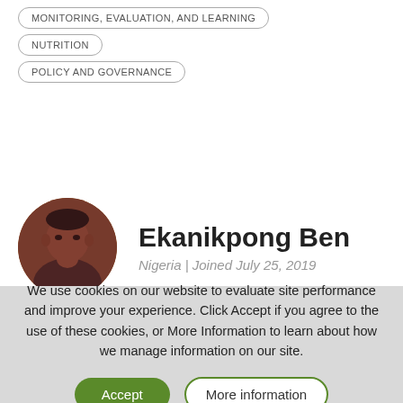MONITORING, EVALUATION, AND LEARNING
NUTRITION
POLICY AND GOVERNANCE
Ekanikpong Ben
Nigeria  |  Joined July 25, 2019
We use cookies on our website to evaluate site performance and improve your experience. Click Accept if you agree to the use of these cookies, or More Information to learn about how we manage information on our site.